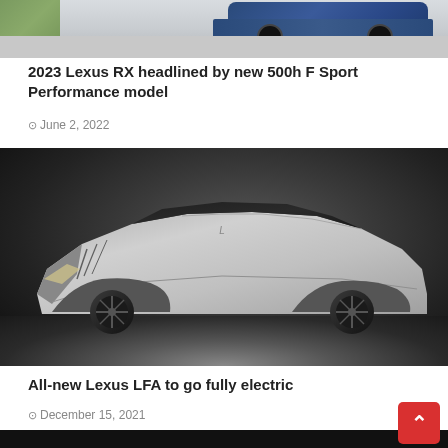[Figure (photo): Top portion of a blue Lexus RX SUV parked on a driveway with greenery visible, showing the rear of the vehicle against a light background.]
2023 Lexus RX headlined by new 500h F Sport Performance model
June 2, 2022
[Figure (photo): Silver Lexus LFA electric concept car photographed in a studio against a dark grey background. The car features a sleek, low-profile sports car design with large black alloy wheels, sharp aerodynamic lines, and a matte metallic silver finish.]
All-new Lexus LFA to go fully electric
December 15, 2021
[Figure (photo): Bottom portion of a third article image, showing a dark/black background at the bottom of the page.]